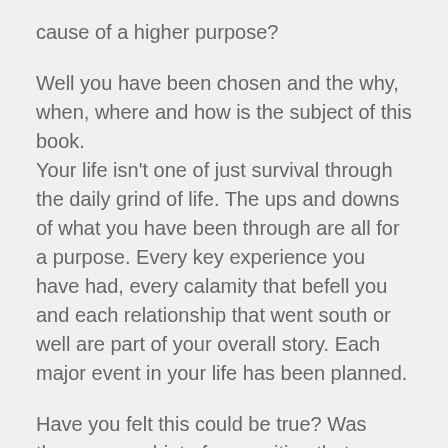cause of a higher purpose?
Well you have been chosen and the why, when, where and how is the subject of this book. Your life isn't one of just survival through the daily grind of life. The ups and downs of what you have been through are all for a purpose. Every key experience you have had, every calamity that befell you and each relationship that went south or well are part of your overall story. Each major event in your life has been planned.
Have you felt this could be true? Was there even a hint of recognition that certain events occurred for a purpose? And that you were seemingly on a train headed for some unknown destination and you